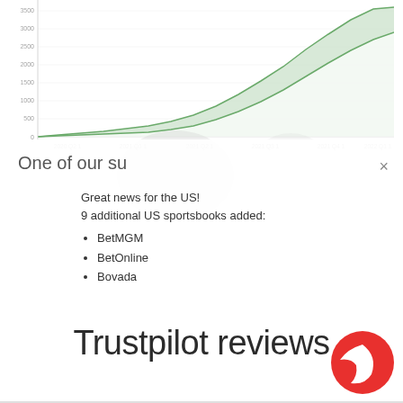[Figure (continuous-plot): Area chart showing growth trend over time (approximately 2020-2022), with two lines creating a filled green area band that rises steeply from near zero to high values. Y-axis shows values from 0 to ~3500. X-axis shows dates.]
One of our su
Great news for the US!
9 additional US sportsbooks added:
BetMGM
BetOnline
Bovada
Trustpilot reviews